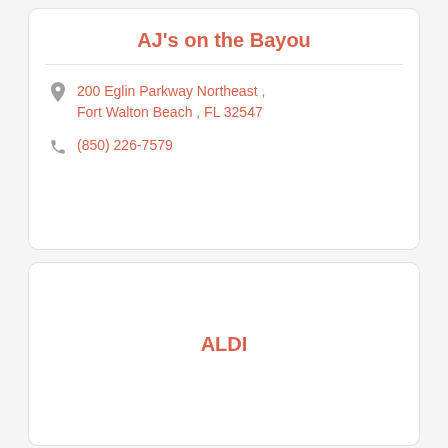AJ's on the Bayou
200 Eglin Parkway Northeast , Fort Walton Beach , FL 32547
(850) 226-7579
ALDI